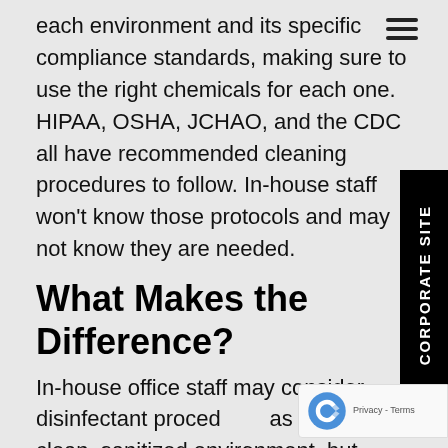each environment and its specific compliance standards, making sure to use the right chemicals for each one. HIPAA, OSHA, JCHAO, and the CDC all have recommended cleaning procedures to follow. In-house staff won't know those protocols and may not know they are needed.
What Makes the Difference?
In-house office staff may consider disinfectant procedures as ensuring a clean, sanitized environment, but there is a difference. Cleaning comes first, then you disinfect. Commercial cleaners like Enviro-Master know and understand this and are properly trained for each scenario.
Using a reputable commercial cleaning service helps medical facilities remain complaint, sanitized, and c... Are you ready to ensure your medical, dental, and